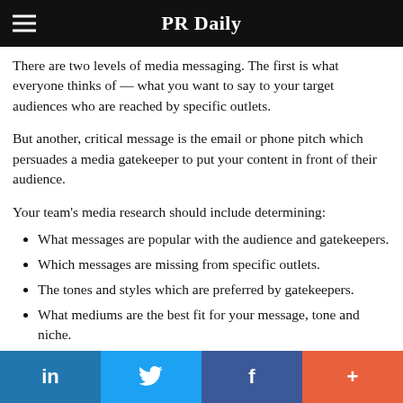PR Daily
There are two levels of media messaging. The first is what everyone thinks of — what you want to say to your target audiences who are reached by specific outlets.
But another, critical message is the email or phone pitch which persuades a media gatekeeper to put your content in front of their audience.
Your team's media research should include determining:
What messages are popular with the audience and gatekeepers.
Which messages are missing from specific outlets.
The tones and styles which are preferred by gatekeepers.
What mediums are the best fit for your message, tone and niche.
in  [twitter]  f  +